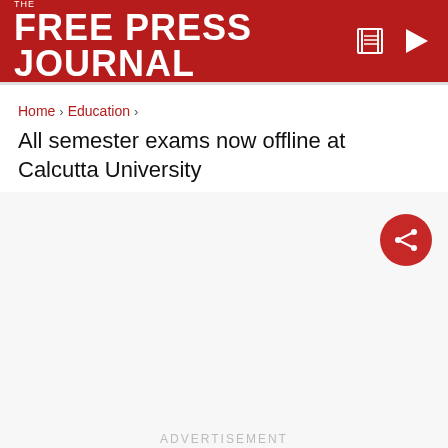THE FREE PRESS JOURNAL
HOME  MUMBAI  INDIA  BUSINESS  ENTERTAINMENT  PHO
Home › Education › All semester exams now offline at Calcutta University
All semester exams now offline at Calcutta University
[Figure (other): Share button (circular red button with share icon)]
ADVERTISEMENT
ADVERTISEMENT